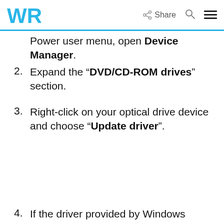WR | Share
Power user menu, open Device Manager.
2. Expand the “DVD/CD-ROM drives” section.
3. Right-click on your optical drive device and choose “Update driver”.
4. If the driver provided by Windows